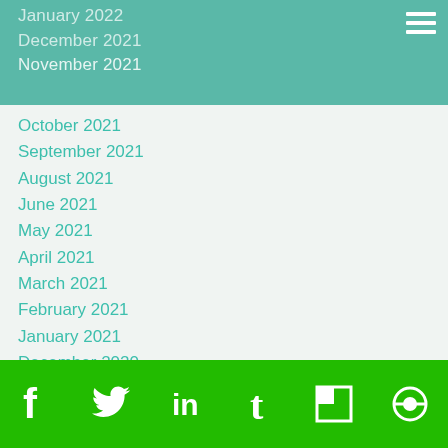January 2022
December 2021
November 2021
October 2021
September 2021
August 2021
June 2021
May 2021
April 2021
March 2021
February 2021
January 2021
December 2020
November 2020
October 2020
September 2020
August 2020
July 2020
June 2020
Social icons: Facebook, Twitter, LinkedIn, Tumblr, Flipboard, Other